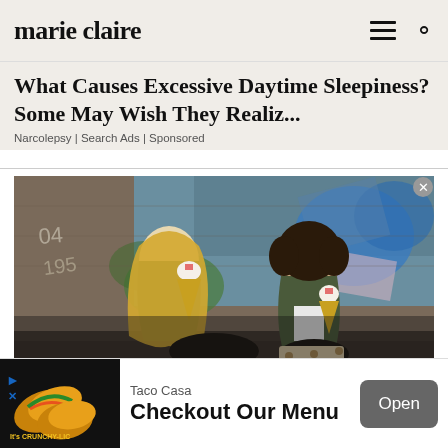marie claire
What Causes Excessive Daytime Sleepiness? Some May Wish They Realiz...
Narcolepsy | Search Ads | Sponsored
[Figure (photo): Two young women sitting against a graffiti-covered brick wall outdoors at night, eating ice cream cones. The woman on the left has long blonde hair and wears a green jacket. The woman on the right has curly dark hair and wears a camo jacket.]
[Figure (photo): Taco Casa advertisement banner showing tacos with text 'It's CRUNCHY-LICIOUS' and a call-to-action button labeled 'Open' with the text 'Checkout Our Menu']